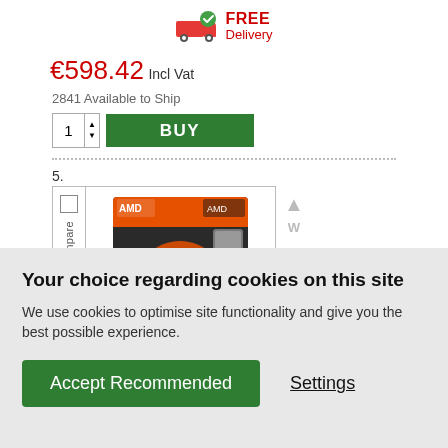[Figure (infographic): Free Delivery icon with truck and green checkmark]
€598.42 Incl Vat
2841 Available to Ship
1  BUY
5.
[Figure (photo): AMD Ryzen 5 processor box product image]
AMD (Elara
Your choice regarding cookies on this site
We use cookies to optimise site functionality and give you the best possible experience.
Accept Recommended
Settings